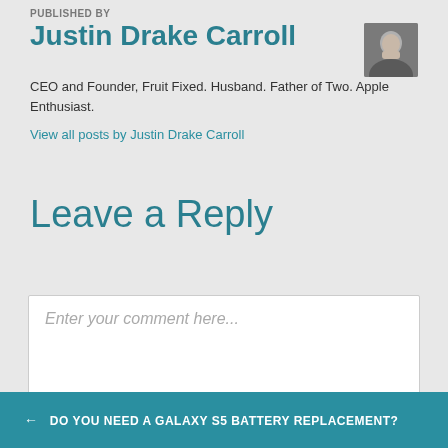PUBLISHED BY
Justin Drake Carroll
CEO and Founder, Fruit Fixed. Husband. Father of Two. Apple Enthusiast.
View all posts by Justin Drake Carroll
Leave a Reply
Enter your comment here...
← DO YOU NEED A GALAXY S5 BATTERY REPLACEMENT?